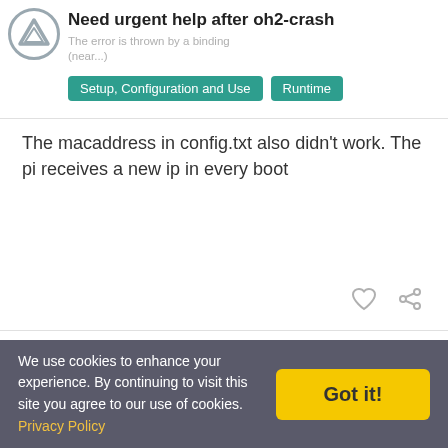Need urgent help after oh2-crash
The macaddress in config.txt also didn't work. The pi receives a new ip in every boot
FrankR
Frank Rein
2  Jun '17
I have another rpi3 with oh2 running. It's my testing machine. It was setup with ua-netinst from 2017/03/17 but without any upgrade. So it runs OH 2.0.0 stable.

Can I move my configuration and my RaZberry zwave controller to that second machine? What do I have to do? As a first step I
We use cookies to enhance your experience. By continuing to visit this site you agree to our use of cookies. Privacy Policy